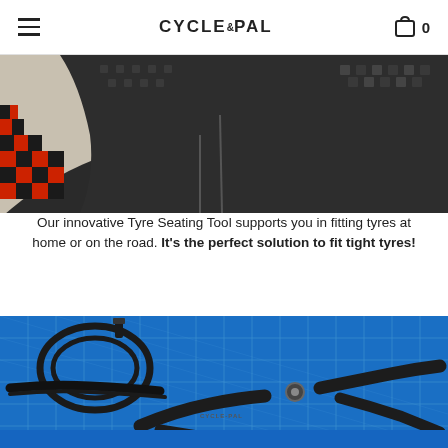CYCLE&PAL — navigation header with hamburger menu and cart icon (0 items)
[Figure (photo): Close-up of a black bicycle tyre with red and black checkerboard pattern on the sidewall, on a white background.]
Our innovative Tyre Seating Tool supports you in fitting tyres at home or on the road. It's the perfect solution to fit tight tyres!
[Figure (photo): Bicycle repair tools including a black inner tube, tyre lever, and a CYCLE-PAL branded tyre seating plier tool, on a blue cutting mat background.]